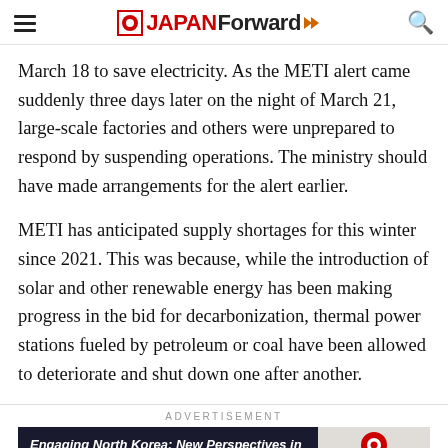JAPAN Forward
March 18 to save electricity. As the METI alert came suddenly three days later on the night of March 21, large-scale factories and others were unprepared to respond by suspending operations. The ministry should have made arrangements for the alert earlier.
METI has anticipated supply shortages for this winter since 2021. This was because, while the introduction of solar and other renewable energy has been making progress in the bid for decarbonization, thermal power stations fueled by petroleum or coal have been allowed to deteriorate and shut down one after another.
ADVERTISEMENT
[Figure (other): Advertisement banner for 'Engaging North Korea: New Perspectives in Diplomacy to Help Resolve the Abductions Issue' with a Learn More button]